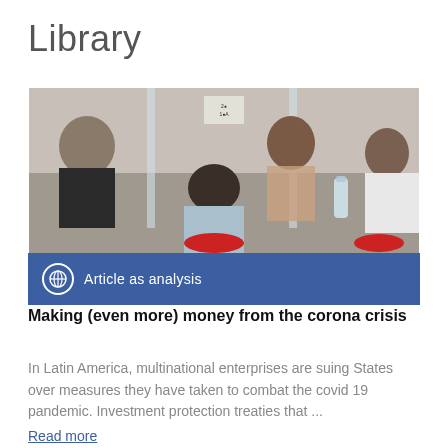Library
[Figure (photo): People sitting at a table separated by transparent plastic dividers, with a woman in the center looking across the divider at another person; a water bottle is on the table; other people visible on either side.]
Article as analysis
Making (even more) money from the corona crisis
In Latin America, multinational enterprises are suing States over measures they have taken to combat the covid 19 pandemic. Investment protection treaties that ...
Read more